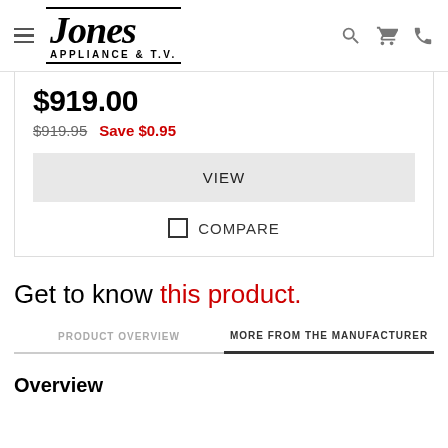Jones Appliance & T.V.
$919.00
$919.95  Save $0.95
VIEW
COMPARE
Get to know this product.
PRODUCT OVERVIEW
MORE FROM THE MANUFACTURER
Overview